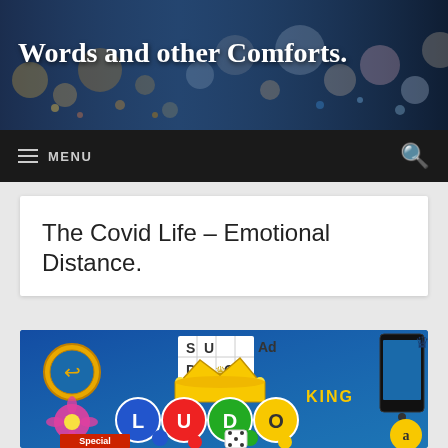Words and other Comforts.
≡ MENU
The Covid Life – Emotional Distance.
[Figure (screenshot): Ludo King mobile game advertisement banner with crown logo, game pieces, and SUDOKU ad overlay in the top center]